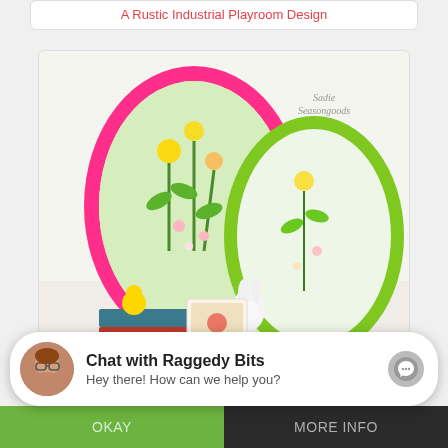A Rustic Industrial Playroom Design
[Figure (photo): Two colorful oval frames (pink and green) with floral vintage fabric inside, surrounded by Easter eggs in a bowl, stacked books, a ceramic bunny, and vintage greeting cards. Watermark reads 'Sadie Seasongoods'.]
DIY Easter “Eggs” Decor with Repurposed Vintage Ov
[Figure (photo): Partial view of a white furniture piece (nightstand or dresser) in a white room with striped pillow visible.]
Chat with Raggedy Bits
Hey there! How can we help you?
OKAY
MORE INFO